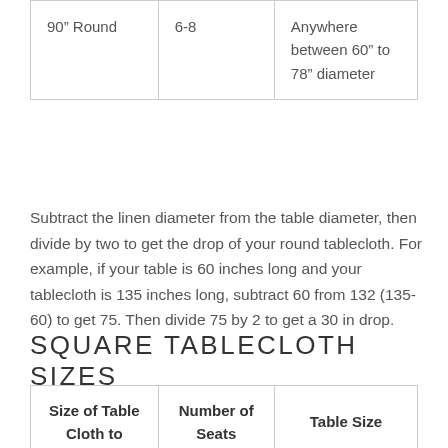| Size of Table Cloth to Use | Number of Seats | Table Size |
| --- | --- | --- |
| 90" Round | 6-8 | Anywhere between 60" to 78" diameter |
Subtract the linen diameter from the table diameter, then divide by two to get the drop of your round tablecloth. For example, if your table is 60 inches long and your tablecloth is 135 inches long, subtract 60 from 132 (135-60) to get 75. Then divide 75 by 2 to get a 30 in drop.
SQUARE TABLECLOTH SIZES
| Size of Table Cloth to | Number of Seats | Table Size |
| --- | --- | --- |